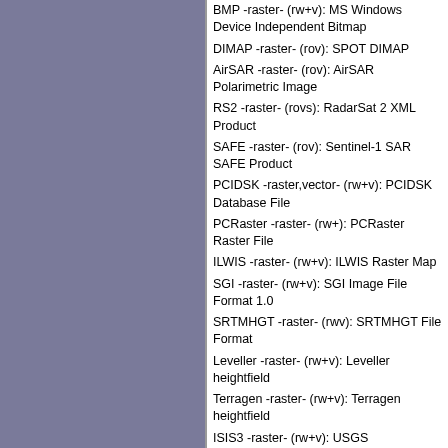BMP -raster- (rw+v): MS Windows Device Independent Bitmap
DIMAP -raster- (rov): SPOT DIMAP
AirSAR -raster- (rov): AirSAR Polarimetric Image
RS2 -raster- (rovs): RadarSat 2 XML Product
SAFE -raster- (rov): Sentinel-1 SAR SAFE Product
PCIDSK -raster,vector- (rw+v): PCIDSK Database File
PCRaster -raster- (rw+): PCRaster Raster File
ILWIS -raster- (rw+v): ILWIS Raster Map
SGI -raster- (rw+v): SGI Image File Format 1.0
SRTMHGT -raster- (rwv): SRTMHGT File Format
Leveller -raster- (rw+v): Leveller heightfield
Terragen -raster- (rw+v): Terragen heightfield
ISIS3 -raster- (rw+v): USGS Astrogeology ISIS cube (Version 3)
ISIS2 -raster- (rw+v): USGS Astrogeology ISIS cube (Version 2)